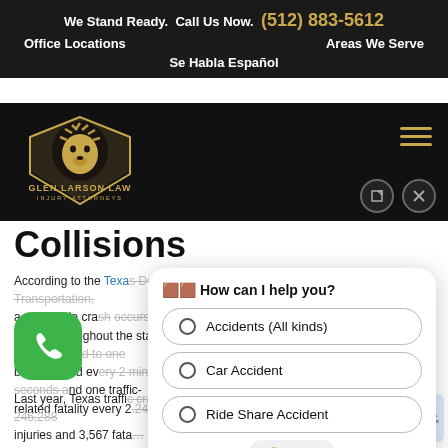We Stand Ready.  Call Us Now.  (512) 883-5612
Office Locations    Areas We Serve
Se Habla Español
[Figure (logo): Glen Larson Law Injury Attorneys logo with gold lion/wolf head and shield on black background]
Collisions
According to the Texas Department of Transportation, a reportable crash occurs every 57 seconds throughout the state. Those collisions lead to one person being injured every 2 minutes and 17 seconds and one traffic-related fatality every 2.24 hours.
Last year, Texas traffic crashes caused 246,288 injuries and 3,567 fata…
[Figure (screenshot): Chat widget overlay with options: Accidents (All kinds), Car Accident, Ride Share Accident, and a Scroll button. Header reads: How can I help you?]